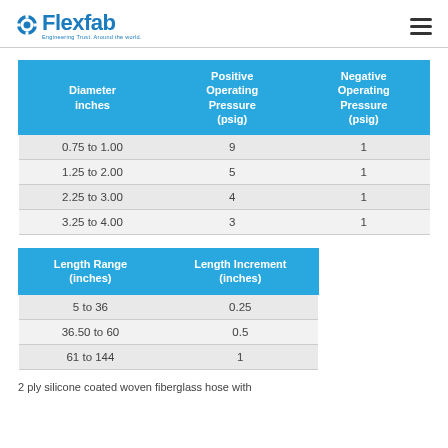Flexfab — Engineering Trust. Around the world.
| Diameter inches | Positive Operating Pressure (psig) | Negative Operating Pressure (psig) |
| --- | --- | --- |
| 0.75 to 1.00 | 9 | 1 |
| 1.25 to 2.00 | 5 | 1 |
| 2.25 to 3.00 | 4 | 1 |
| 3.25 to 4.00 | 3 | 1 |
| Length Range (inches) | Length Increment (inches) |
| --- | --- |
| 5 to 36 | 0.25 |
| 36.50 to 60 | 0.5 |
| 61 to 144 | 1 |
2 ply silicone coated woven fiberglass hose with